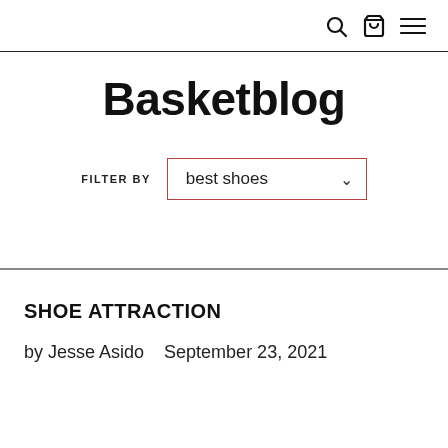🔍 🛍 ≡
Basketblog
FILTER BY  best shoes
SHOE ATTRACTION
by Jesse Asido   September 23, 2021